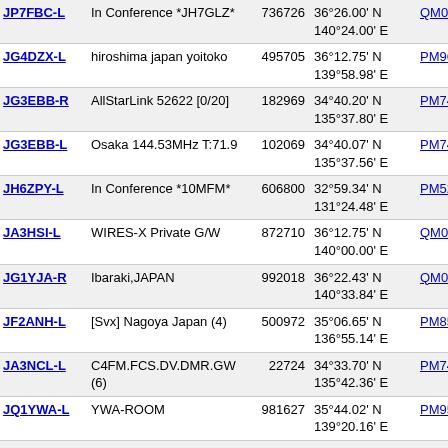| Callsign | Description | Node | Coordinates | Grid | Freq |
| --- | --- | --- | --- | --- | --- |
| JP7FBC-L | In Conference *JH7GLZ* | 736726 | 36°26.00' N 140°24.00' E | QM06ek | 58 |
| JG4DZX-L | hiroshima japan yoitoko | 495705 | 36°12.75' N 139°58.98' E | PM96xf | 58 |
| JG3EBB-R | AllStarLink 52622 [0/20] | 182969 | 34°40.20' N 135°37.80' E | PM74tq | 58 |
| JG3EBB-L | Osaka 144.53MHz T:71.9 | 102069 | 34°40.07' N 135°37.56' E | PM74tq | 58 |
| JH6ZPY-L | In Conference *10MFM* | 606800 | 32°59.34' N 131°24.48' E | PM52qx | 58 |
| JA3HSI-L | WIRES-X Private G/W | 872710 | 36°12.75' N 140°00.00' E | QM06af | 58 |
| JG1YJA-R | Ibaraki,JAPAN | 992018 | 36°22.43' N 140°33.84' E | QM06gi | 59 |
| JF2ANH-L | [Svx] Nagoya Japan (4) | 500972 | 35°06.65' N 136°55.14' E | PM85lc | 59 |
| JA3NCL-L | C4FM.FCS.DV.DMR.GW (6) | 22724 | 34°33.70' N 135°42.36' E | PM74un | 59 |
| JQ1YWA-L | YWA-ROOM | 981627 | 35°44.02' N 139°20.16' E | PM95qr | 59 |
| JI3AES-L | MinamiWard Saitama C. | 388355 | 35°50.29' N 139°39.06' E | PM95tu | 59 |
| PY2IKE-R | In Conference *PAULISTA* | 253341 | 22°24.91' S 49°24.31' W | GG57ho | 59 |
| PY2IKE-L | Duartina-SP Brasil | 356977 | 22°24.93' S | GG57ho | 59 |